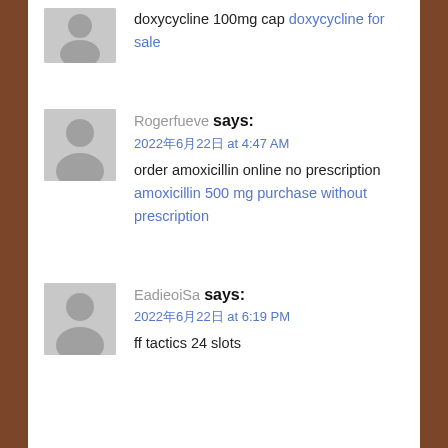doxycycline 100mg cap doxycycline for sale
Rogerfueve says:
2022年6月22日 at 4:47 AM
order amoxicillin online no prescription amoxicillin 500 mg purchase without prescription
EadieoiSa says:
2022年6月22日 at 6:19 PM
ff tactics 24 slots